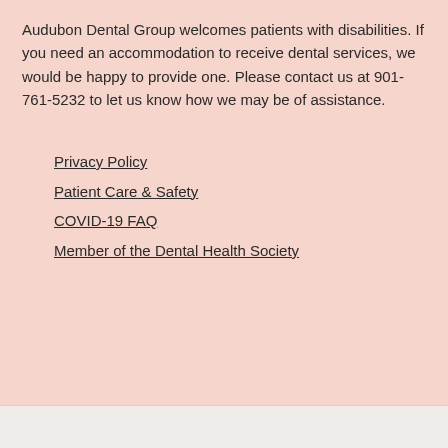Audubon Dental Group welcomes patients with disabilities. If you need an accommodation to receive dental services, we would be happy to provide one. Please contact us at 901-761-5232 to let us know how we may be of assistance.
Privacy Policy
Patient Care & Safety
COVID-19 FAQ
Member of the Dental Health Society